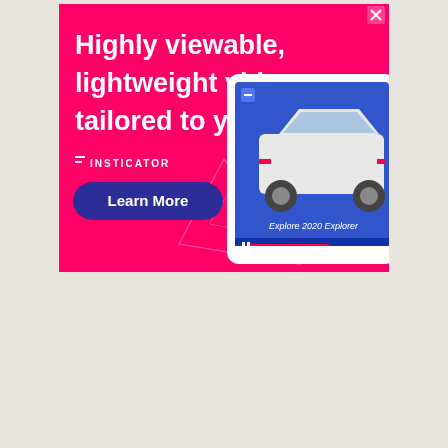[Figure (illustration): Insticator advertisement banner with hot pink background. Headline reads 'Highly viewable, lightweight video tailored to your site'. Insticator logo in white. 'Learn More' button in dark blue/purple. Right side shows a tablet device with Ford Explorer 2020 video player UI on blue background. Decorative geometric triangle outlines in light pink. Close X button in top right corner.]